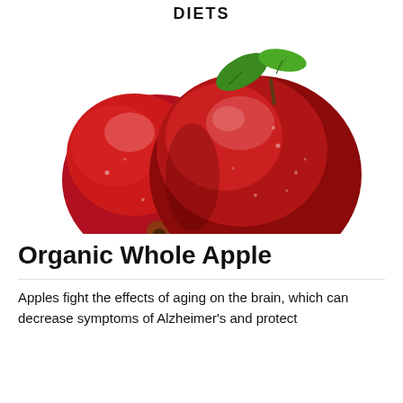DIETS
[Figure (photo): Two red apples with green leaf on white background]
Organic Whole Apple
Apples fight the effects of aging on the brain, which can decrease symptoms of Alzheimer's and protect